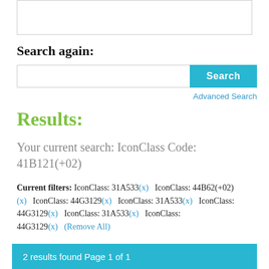[Figure (screenshot): Top portion of a web page showing a search input box area (partially visible at top)]
Search again:
[Figure (screenshot): Search bar with text input field and blue Search button]
Advanced Search
Results:
Your current search: IconClass Code: 41B121(+02)
Current filters: IconClass: 31A533(x)   IconClass: 44B62(+02)(x)   IconClass: 44G3129(x)   IconClass: 31A533(x)   IconClass: 44G3129(x)   IconClass: 31A533(x)   IconClass: 44G3129(x)   (Remove All)
2 results found Page 1 of 1